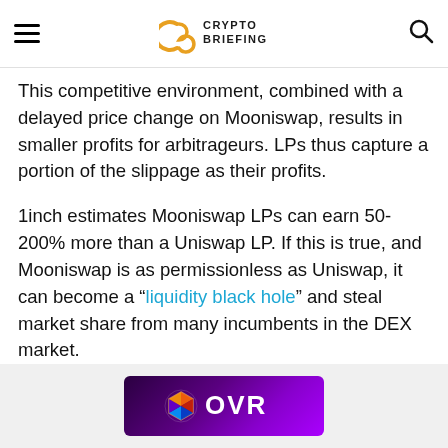CRYPTO BRIEFING
This competitive environment, combined with a delayed price change on Mooniswap, results in smaller profits for arbitrageurs. LPs thus capture a portion of the slippage as their profits.
1inch estimates Mooniswap LPs can earn 50-200% more than a Uniswap LP. If this is true, and Mooniswap is as permissionless as Uniswap, it can become a “liquidity black hole” and steal market share from many incumbents in the DEX market.
[Figure (logo): OVR logo advertisement banner with purple gradient background]